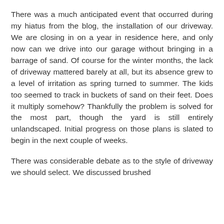There was a much anticipated event that occurred during my hiatus from the blog, the installation of our driveway. We are closing in on a year in residence here, and only now can we drive into our garage without bringing in a barrage of sand. Of course for the winter months, the lack of driveway mattered barely at all, but its absence grew to a level of irritation as spring turned to summer. The kids too seemed to track in buckets of sand on their feet. Does it multiply somehow? Thankfully the problem is solved for the most part, though the yard is still entirely unlandscaped. Initial progress on those plans is slated to begin in the next couple of weeks.
There was considerable debate as to the style of driveway we should select. We discussed brushed